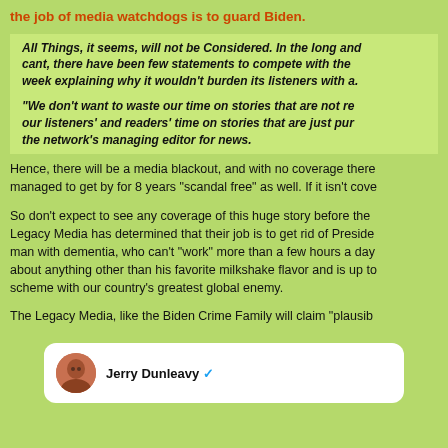the job of media watchdogs is to guard Biden.
All Things, it seems, will not be Considered. In the long and cant, there have been few statements to compete with the week explaining why it wouldn't burden its listeners with a.
“We don’t want to waste our time on stories that are not re our listeners’ and readers’ time on stories that are just pur the network’s managing editor for news.
Hence, there will be a media blackout, and with no coverage there managed to get by for 8 years “scandal free” as well. If it isn't cove
So don’t expect to see any coverage of this huge story before the Legacy Media has determined that their job is to get rid of Preside man with dementia, who can’t “work” more than a few hours a day about anything other than his favorite milkshake flavor and is up to scheme with our country’s greatest global enemy.
The Legacy Media, like the Biden Crime Family will claim “plausib
[Figure (screenshot): Twitter/X profile card showing Jerry Dunleavy with verified blue checkmark]